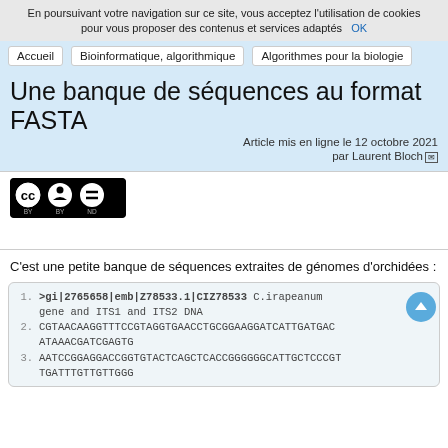En poursuivant votre navigation sur ce site, vous acceptez l'utilisation de cookies pour vous proposer des contenus et services adaptés  OK
Accueil  Bioinformatique, algorithmique  Algorithmes pour la biologie
Une banque de séquences au format FASTA
Article mis en ligne le 12 octobre 2021
par Laurent Bloch
[Figure (logo): Creative Commons CC BY ND license badge]
C'est une petite banque de séquences extraites de génomes d'orchidées :
1. >gi|2765658|emb|Z78533.1|CIZ78533 C.irapeanum
   gene and ITS1 and ITS2 DNA
2. CGTAACAAGGTTTCCGTAGGTGAACCTGCGGAAGGATCATTGATGAC
   ATAAACGATCGAGTG
3. AATCCGGAGGACCGGTGTACTCAGCTCACCGGGGGGCATTGCTCCCGT
   TGATTTGTTGTTGGG